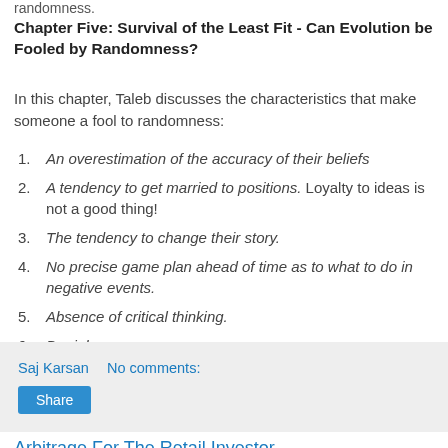randomness.
Chapter Five: Survival of the Least Fit - Can Evolution be Fooled by Randomness?
In this chapter, Taleb discusses the characteristics that make someone a fool to randomness:
An overestimation of the accuracy of their beliefs
A tendency to get married to positions. Loyalty to ideas is not a good thing!
The tendency to change their story.
No precise game plan ahead of time as to what to do in negative events.
Absence of critical thinking.
Denial.
Saj Karsan   No comments:
Share
Arbitrage For The Retail Investor